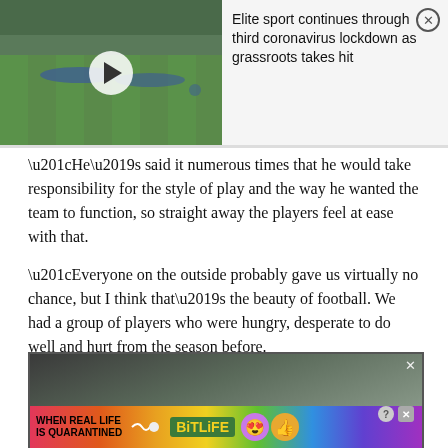[Figure (screenshot): Video thumbnail showing football players training on a green pitch, overlaid with a news headline panel reading 'Elite sport continues through third coronavirus lockdown as grassroots takes hit' and a close button]
“He’s said it numerous times that he would take responsibility for the style of play and the way he wanted the team to function, so straight away the players feel at ease with that.
“Everyone on the outside probably gave us virtually no chance, but I think that’s the beauty of football. We had a group of players who were hungry, desperate to do well and hurt from the season before.
[Figure (screenshot): Bottom image section showing football players celebrating, with a colorful rainbow BitLife advertisement banner overlay and a close (x) button]